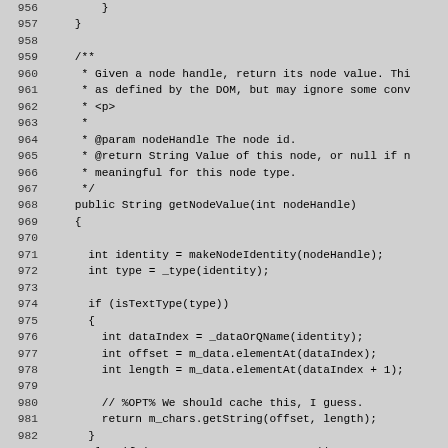Source code listing lines 956–985, Java method getNodeValue with Javadoc comment